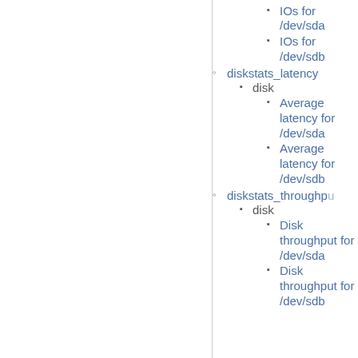Memory fragmentation in Node 0, zone DMA32
diskstats_iops
disk
IOs for /dev/sda
IOs for /dev/sdb
diskstats_latency
disk
Average latency for /dev/sda
Average latency for /dev/sdb
diskstats_throughput
disk
Disk throughput for /dev/sda
Disk throughput for /dev/sdb